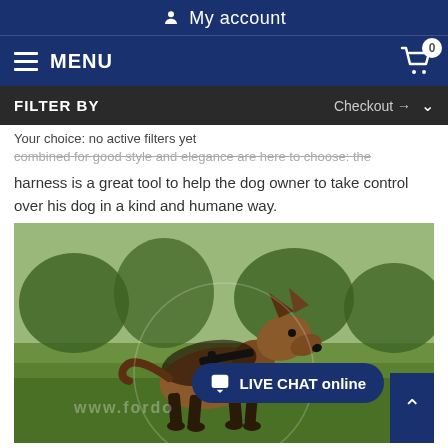My account
MENU
FILTER BY    Checkout →
Your choice: no active filters yet
harness is a great tool to help the dog owner to take control over his dog in a kind and humane way.
[Figure (photo): A German Shepherd dog wearing a black harness, standing on a grassy field with trees in background. Watermark reads www.fordo across the image.]